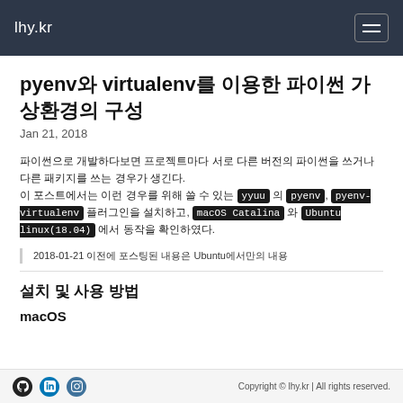lhy.kr
pyenv와 virtualenv를 이용한 파이썬 가상환경의 구성
Jan 21, 2018
파이썬으로 개발하다보면 프로젝트마다 서로 다 버전의 파이썬을 쓰거나 다른 패키지를 쓰는 경우가 생긴다.
이 포스트에서는 이런 경우를 위해 쓸 수 있는 yyuu 의 pyenv, pyenv-virtualenv 플러그인을 설치하고, macOS Catalina 와 Ubuntu linux(18.04) 에서 동작을 확인하였다.
2018-01-21 이전에 포스팅된 내용은 Ubuntu에서만의 내용
설치 및 사용 방법
macOS
Copyright © lhy.kr | All rights reserved.